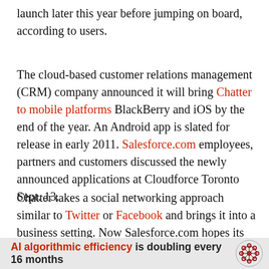launch later this year before jumping on board, according to users.
The cloud-based customer relations management (CRM) company announced it will bring Chatter to mobile platforms BlackBerry and iOS by the end of the year. An Android app is slated for release in early 2011. Salesforce.com employees, partners and customers discussed the newly announced applications at Cloudforce Toronto Sept. 13.
Chatter takes a social networking approach similar to Twitter or Facebook and brings it into a business setting. Now Salesforce.com hopes its customers will
AI algorithmic efficiency is doubling every 16 months